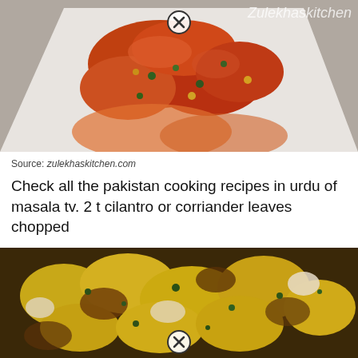[Figure (photo): Photo of Pakistani masala chicken dish on a white plate, spiced red curry with fresh herbs, watermark 'Zulekhaskitchen' visible, close button icon overlay]
Source: zulekhaskitchen.com
Check all the pakistan cooking recipes in urdu of masala tv. 2 t cilantro or corriander leaves chopped
[Figure (photo): Close-up photo of Pakistani chicken karahi dish with turmeric-yellow chicken pieces, brown spices, and fresh green cilantro, close button icon overlay at bottom center]